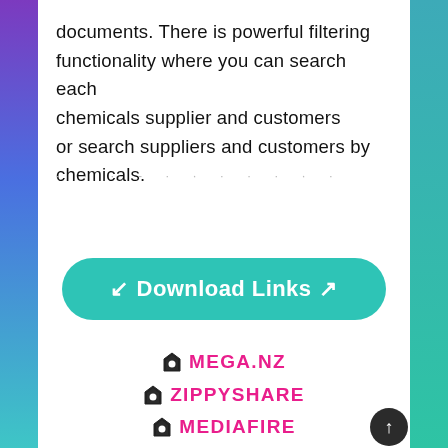documents. There is powerful filtering functionality where you can search each chemicals supplier and customers or search suppliers and customers by chemicals.
· · · - · · · · · · ·
↙ Download Links ↗
● MEGA.NZ
● ZIPPYSHARE
● MEDIAFIRE